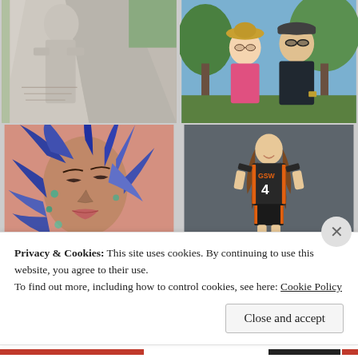[Figure (photo): Top-left: Black and white photo of a large stone monument/sculpture, appearing to be the Martin Luther King Jr. Memorial, showing carved stone figures emerging from stone.]
[Figure (photo): Top-right: Color photo of two people (a woman in pink shirt and a man in dark athletic wear with sunglasses) posing together outdoors with trees in background.]
[Figure (photo): Bottom-left: Color photo of a colorful mural painting depicting a woman's face with flowing hair, in blues and purples on a pinkish background.]
[Figure (photo): Bottom-right: Color photo of a young woman in a black and orange volleyball uniform (number 4, GSW) standing and smiling against a gray background.]
Privacy & Cookies: This site uses cookies. By continuing to use this website, you agree to their use.
To find out more, including how to control cookies, see here: Cookie Policy
Close and accept